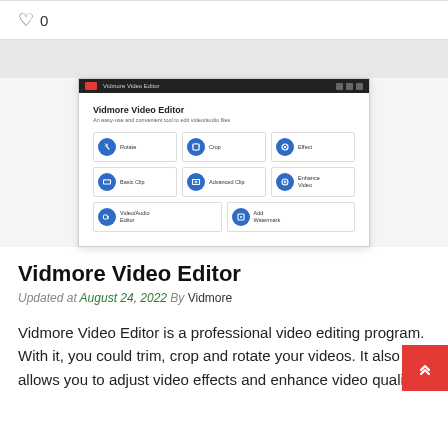♡ 0
[Figure (screenshot): Vidmore Video Editor application screenshot showing a grid of features: Rotate, Crop, Effect, Basic Clip, Advanced Clip, Enhance Video, Video/Audio Editor, Add Watermark]
Vidmore Video Editor
Updated at August 24, 2022 By Vidmore
Vidmore Video Editor is a professional video editing program. With it, you could trim, crop and rotate your videos. It also allows you to adjust video effects and enhance video quality.